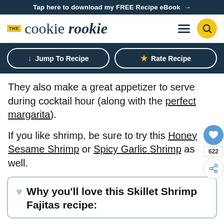Tap here to download my FREE Recipe eBook →
[Figure (logo): The Cookie Rookie website logo with hamburger menu icon and yellow search circle icon]
↓ Jump To Recipe
★ Rate Recipe
They also make a great appetizer to serve during cocktail hour (along with the perfect margarita).
If you like shrimp, be sure to try this Honey Sesame Shrimp or Spicy Garlic Shrimp as well.
Why you'll love this Skillet Shrimp Fajitas recipe: